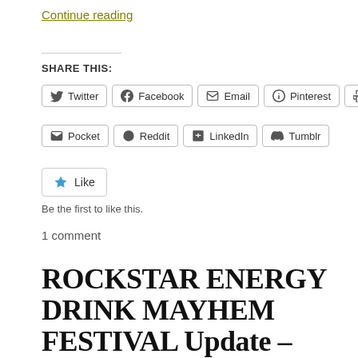Continue reading
SHARE THIS:
Twitter | Facebook | Email | Pinterest | Print | Pocket | Reddit | LinkedIn | Tumblr
Like
Be the first to like this.
1 comment
ROCKSTAR ENERGY DRINK MAYHEM FESTIVAL Update – ATTIKA 7 and SCORPION CHILD Added $4 Day – All